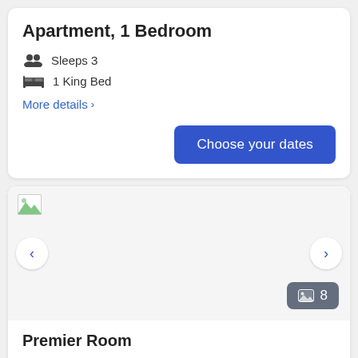Apartment, 1 Bedroom
Sleeps 3
1 King Bed
More details >
Choose your dates
[Figure (photo): Room photo carousel with broken image placeholder, navigation arrows, and photo count badge showing 8]
Premier Room
Sleeps 2